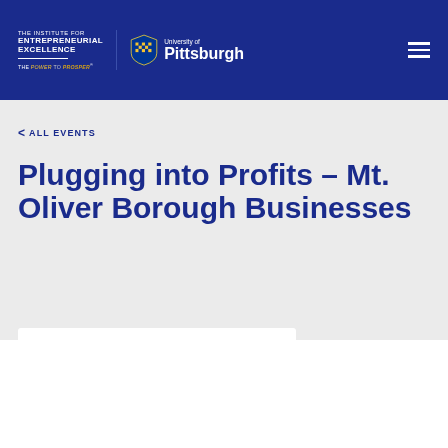THE INSTITUTE FOR ENTREPRENEURIAL EXCELLENCE — THE POWER TO PROSPER | University of Pittsburgh
< ALL EVENTS
Plugging into Profits – Mt. Oliver Borough Businesses
Search